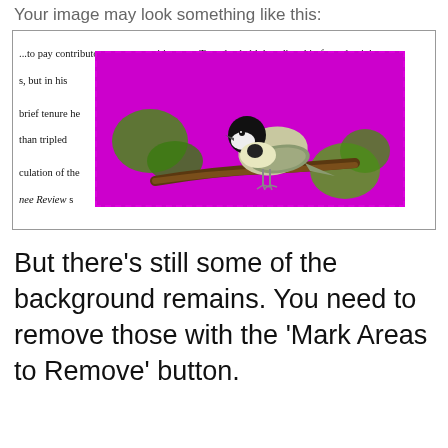Your image may look something like this:
[Figure (screenshot): Screenshot of a document page showing text about Sewanee Review with a bird (chickadee on a branch) overlaid on a magenta/purple background box in the center of the text. The bird image shows background removal in progress with remaining purple/magenta areas.]
But there’s still some of the background remains. You need to remove those with the ‘Mark Areas to Remove’ button.